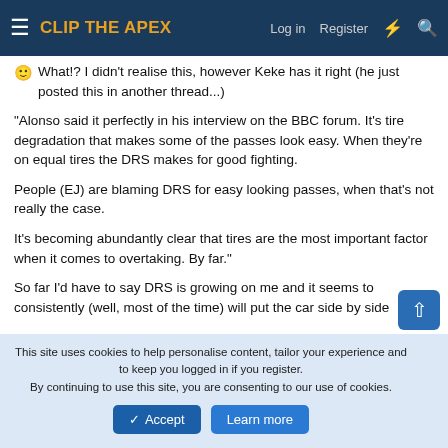CLIP THE APEX — Log in | Register
🙂 What!? I didn't realise this, however Keke has it right (he just posted this in another thread...)
"Alonso said it perfectly in his interview on the BBC forum. It's tire degradation that makes some of the passes look easy. When they're on equal tires the DRS makes for good fighting.

People (EJ) are blaming DRS for easy looking passes, when that's not really the case.

It's becoming abundantly clear that tires are the most important factor when it comes to overtaking. By far."
So far I'd have to say DRS is growing on me and it seems to consistently (well, most of the time) will put the car side by side
This site uses cookies to help personalise content, tailor your experience and to keep you logged in if you register.
By continuing to use this site, you are consenting to our use of cookies.